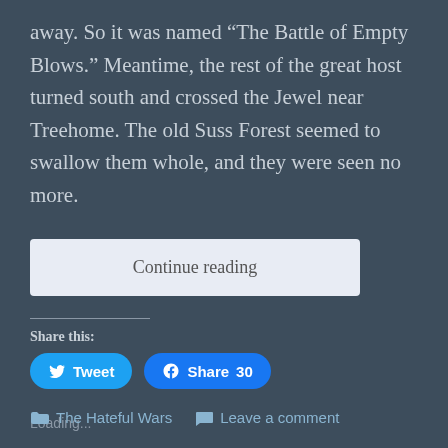away. So it was named “The Battle of Empty Blows.” Meantime, the rest of the great host turned south and crossed the Jewel near Treehome. The old Suss Forest seemed to swallow them whole, and they were seen no more.
Continue reading
Share this:
Tweet
Share 30
Loading...
The Hateful Wars   Leave a comment